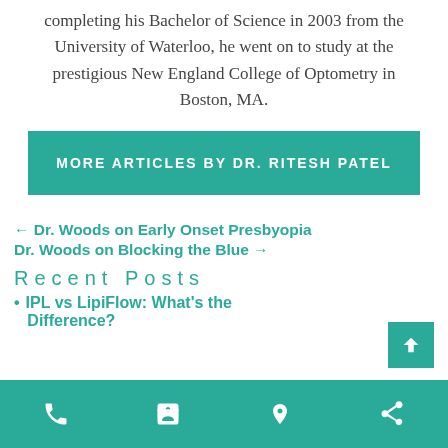completing his Bachelor of Science in 2003 from the University of Waterloo, he went on to study at the prestigious New England College of Optometry in Boston, MA.
MORE ARTICLES BY DR. RITESH PATEL
← Dr. Woods on Early Onset Presbyopia
Dr. Woods on Blocking the Blue →
Recent Posts
IPL vs LipiFlow: What's the Difference?